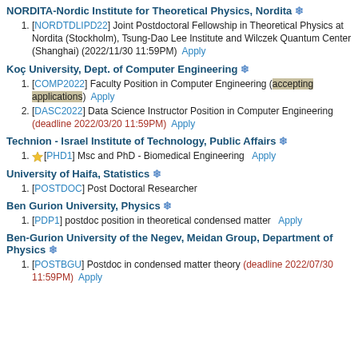NORDITA-Nordic Institute for Theoretical Physics, Nordita ❄
[NORDTDLIPD22] Joint Postdoctoral Fellowship in Theoretical Physics at Nordita (Stockholm), Tsung-Dao Lee Institute and Wilczek Quantum Center (Shanghai) (2022/11/30 11:59PM) Apply
Koç University, Dept. of Computer Engineering ❄
[COMP2022] Faculty Position in Computer Engineering (accepting applications) Apply
[DASC2022] Data Science Instructor Position in Computer Engineering (deadline 2022/03/20 11:59PM) Apply
Technion - Israel Institute of Technology, Public Affairs ❄
★[PHD1] Msc and PhD - Biomedical Engineering Apply
University of Haifa, Statistics ❄
[POSTDOC] Post Doctoral Researcher
Ben Gurion University, Physics ❄
[PDP1] postdoc position in theoretical condensed matter Apply
Ben-Gurion University of the Negev, Meidan Group, Department of Physics ❄
[POSTBGU] Postdoc in condensed matter theory (deadline 2022/07/30 11:59PM) Apply